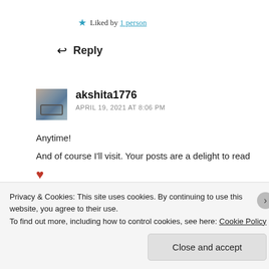★ Liked by 1 person
↩ Reply
akshita1776
APRIL 19, 2021 AT 8:06 PM
Anytime!
And of course I'll visit. Your posts are a delight to read ❤
★ Liked by 1 person
Privacy & Cookies: This site uses cookies. By continuing to use this website, you agree to their use.
To find out more, including how to control cookies, see here: Cookie Policy
Close and accept